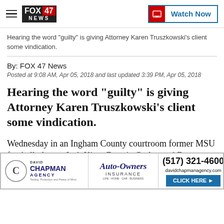FOX 47 NEWS | Watch Now
Hearing the word "guilty" is giving Attorney Karen Truszkowski's client some vindication.
By: FOX 47 News
Posted at 9:08 AM, Apr 05, 2018 and last updated 3:39 PM, Apr 05, 2018
Hearing the word "guilty" is giving Attorney Karen Truszkowski's client some vindication.
Wednesday in an Ingham County courtroom former MSU football players Josh King, Donnie Corley and Deme... rge for an... r.
[Figure (advertisement): David Chapman Agency / Auto-Owners Insurance ad with phone number (517) 321-4600, website davidchapmanagency.com, and CLICK HERE button]